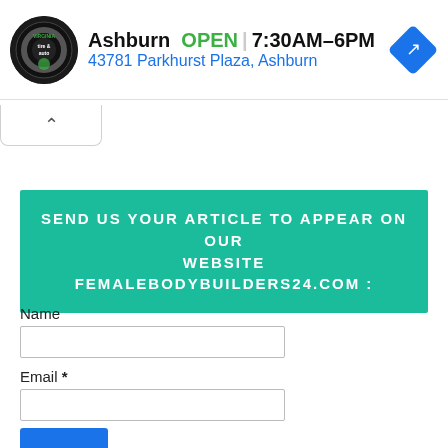[Figure (screenshot): Advertisement banner for Virginia Tire & Auto: logo circle on left, text 'Ashburn OPEN 7:30AM–6PM' and address '43781 Parkhurst Plaza, Ashburn', blue diamond arrow icon on right. Ad controls (play/close icons) on far left. Collapsed tab with chevron below the banner.]
SEND US YOUR ARTICLE TO APPEAR ON OUR WEBSITE FEMALEBODYBUILDERS24.COM :
Name
Email *
Message *